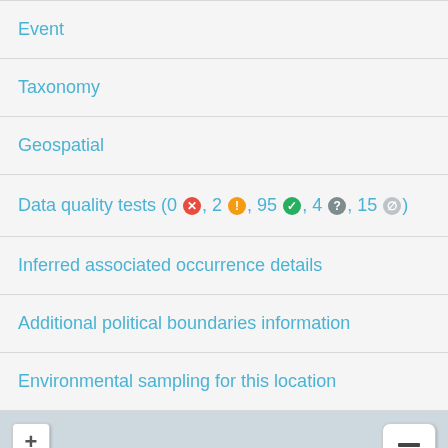Event
Taxonomy
Geospatial
Data quality tests (0 ✗, 2 !, 95 ✓, 4 ?, 15 ∅)
Inferred associated occurrence details
Additional political boundaries information
Environmental sampling for this location
[Figure (map): Map of southeastern Australia showing location pin near Melbourne. City labels visible: Newcastle, SYDNEY, Adelaide, Canberra, MELBOURNE. Map includes zoom controls (+/-) and layer switcher button.]